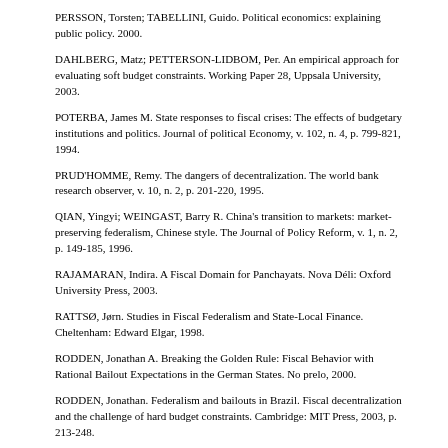PERSSON, Torsten; TABELLINI, Guido. Political economics: explaining public policy. 2000.
DAHLBERG, Matz; PETTERSON-LIDBOM, Per. An empirical approach for evaluating soft budget constraints. Working Paper 28, Uppsala University, 2003.
POTERBA, James M. State responses to fiscal crises: The effects of budgetary institutions and politics. Journal of political Economy, v. 102, n. 4, p. 799-821, 1994.
PRUD'HOMME, Remy. The dangers of decentralization. The world bank research observer, v. 10, n. 2, p. 201-220, 1995.
QIAN, Yingyi; WEINGAST, Barry R. China's transition to markets: market-preserving federalism, Chinese style. The Journal of Policy Reform, v. 1, n. 2, p. 149-185, 1996.
RAJAMARAN, Indira. A Fiscal Domain for Panchayats. Nova Déli: Oxford University Press, 2003.
RATTSØ, Jørn. Studies in Fiscal Federalism and State-Local Finance. Cheltenham: Edward Elgar, 1998.
RODDEN, Jonathan A. Breaking the Golden Rule: Fiscal Behavior with Rational Bailout Expectations in the German States. No prelo, 2000.
RODDEN, Jonathan. Federalism and bailouts in Brazil. Fiscal decentralization and the challenge of hard budget constraints. Cambridge: MIT Press, 2003, p. 213-248.
SAIEGH, Sebastian M.; TOMMASI, Mariano. Why is Argentina's Fiscal Federalism so Inefficent? Entering the Labyrinth. CEDI Working Paper No. 11. Argentina: Centro de Estudios para el Desarrollo Institucional, 1998.